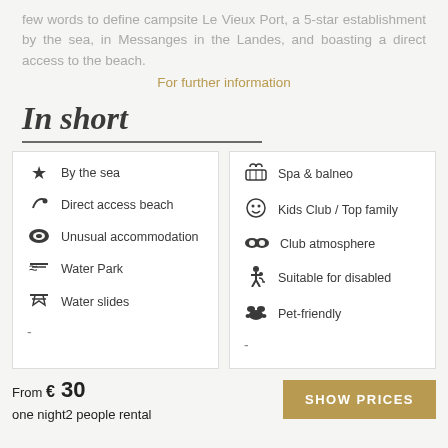few words to define campsite Le Vieux Port, a 5-star establishment by the sea, in Messanges in the Landes, and boasting a direct access to the beach.
For further information
In short
By the sea
Direct access beach
Unusual accommodation
Water Park
Water slides
Spa & balneo
Kids Club / Top family
Club atmosphere
Suitable for disabled
Pet-friendly
From € 30
one night2 people rental
SHOW PRICES